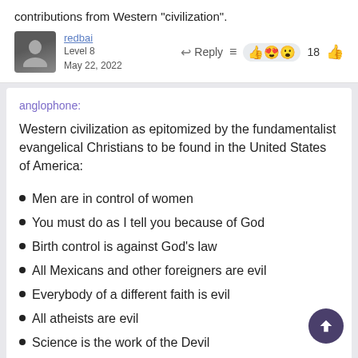contributions from Western "civilization".
redbai
Level 8
May 22, 2022
anglophone:
Western civilization as epitomized by the fundamentalist evangelical Christians to be found in the United States of America:
Men are in control of women
You must do as I tell you because of God
Birth control is against God's law
All Mexicans and other foreigners are evil
Everybody of a different faith is evil
All atheists are evil
Science is the work of the Devil